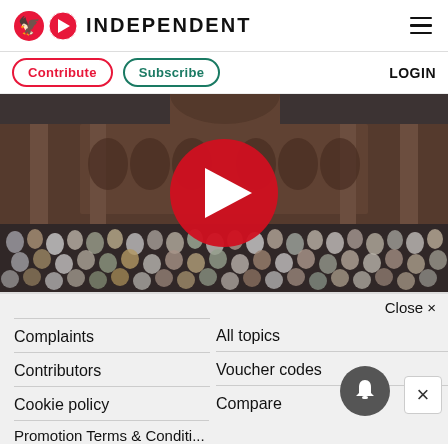INDEPENDENT
Contribute   Subscribe   LOGIN
[Figure (photo): Crowd gathered at a mosque courtyard for prayer, with large red play button overlay indicating a video thumbnail]
Close ×
Complaints
All topics
Contributors
Voucher codes
Cookie policy
Compare
Promotion Terms & Conditions